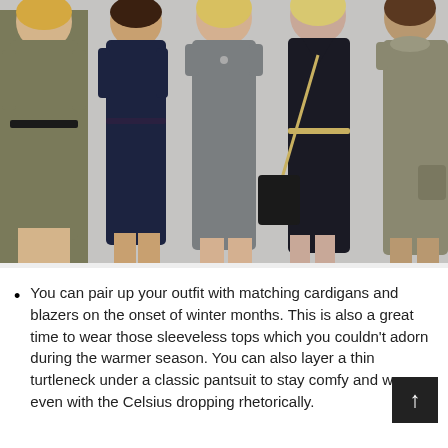[Figure (photo): Five women wearing different professional/business-casual dresses: olive/khaki belted dress, navy cap-sleeve belted dress, grey short-sleeve shift dress, black v-neck belted dress with crossbody bag, and grey-olive short-sleeve dress with pocket.]
You can pair up your outfit with matching cardigans and blazers on the onset of winter months. This is also a great time to wear those sleeveless tops which you couldn't adorn during the warmer season. You can also layer a thin turtleneck under a classic pantsuit to stay comfy and warm even with the Celsius dropping rhetorically.